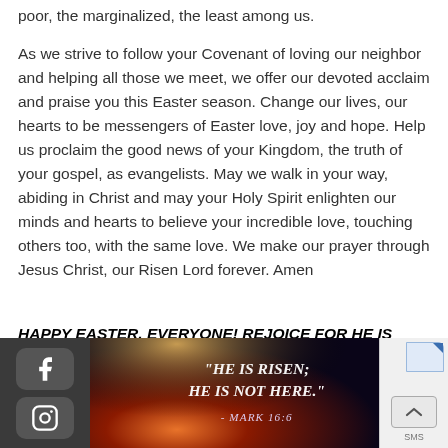poor, the marginalized, the least among us.
As we strive to follow your Covenant of loving our neighbor and helping all those we meet, we offer our devoted acclaim and praise you this Easter season. Change our lives, our hearts to be messengers of Easter love, joy and hope. Help us proclaim the good news of your Kingdom, the truth of your gospel, as evangelists. May we walk in your way, abiding in Christ and may your Holy Spirit enlighten our minds and hearts to believe your incredible love, touching others too, with the same love. We make our prayer through Jesus Christ, our Risen Lord forever. Amen
HAPPY EASTER, EVERYONE! REJOICE FOR HE IS RISEN! ALLELUIA 🙏 ❤️🐣
[Figure (photo): Religious image with dark background showing dramatic light rays and the text '"HE IS RISEN; HE IS NOT HERE." - MARK 16:6' in white italic font]